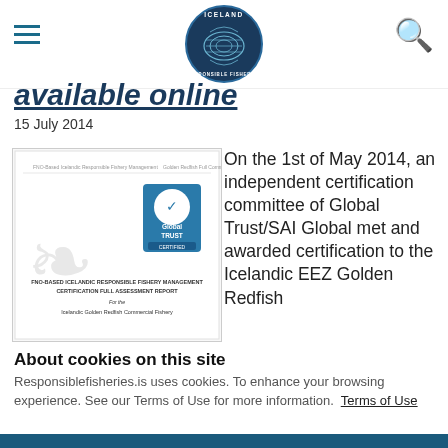Iceland Responsible Fisheries logo, hamburger menu, search icon
available online
15 July 2014
[Figure (illustration): Thumbnail of a certification report document titled 'FNO-Based Icelandic Responsible Fishery Management Certification Full Assessment Report for the Icelandic Golden Redfish Commercial Fishery' with a Global Trust certification badge.]
On the 1st of May 2014, an independent certification committee of Global Trust/SAI Global met and awarded certification to the Icelandic EEZ Golden Redfish
About cookies on this site
Responsiblefisheries.is uses cookies. To enhance your browsing experience. See our Terms of Use for more information. Terms of Use